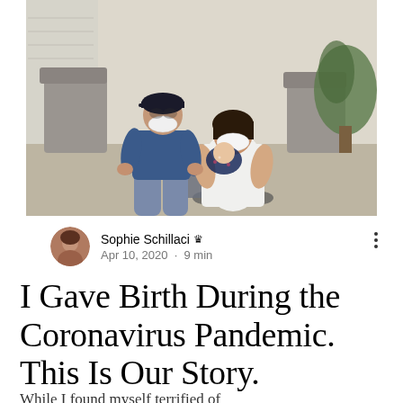[Figure (photo): A man in a baseball cap and blue t-shirt kneeling beside a woman in a white dress sitting in a wheelchair, both wearing face masks. The woman holds a newborn baby wrapped in a patterned blanket. They are in a hospital room with chairs and a plant in the background.]
Sophie Schillaci ♛
Apr 10, 2020 · 9 min
I Gave Birth During the Coronavirus Pandemic. This Is Our Story.
While I found myself terrified of